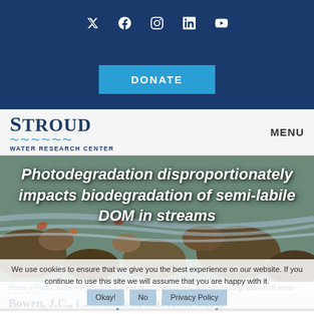Social icons: Twitter, Facebook, Instagram, LinkedIn, YouTube
DONATE
Stroud Water Research Center | MENU
[Figure (photo): Rocky stream with water flowing over stones, autumn leaves visible, serves as hero background image]
Photodegradation disproportionately impacts biodegradation of semi-labile DOM in streams
We use cookies to ensure that we give you the best experience on our website. If you continue to use this site we will assume that you are happy with it.
Okay!  No  Privacy Policy
Home » Publications » Photodegradation disproportionately impacts biodegradation of semi-labile DOM in streams
Bowen, J.C., L.A. Kaplan, and R.M. Cory,